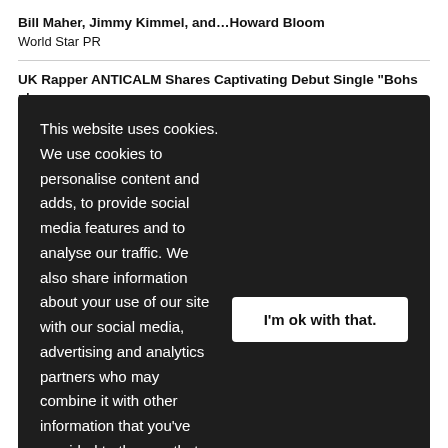Bill Maher, Jimmy Kimmel, and…Howard Bloom
World Star PR
UK Rapper ANTICALM Shares Captivating Debut Single "Bohs n'
This website uses cookies. We use cookies to personalise content and adds, to provide social media features and to analyse our traffic. We also share information about your use of our site with our social media, advertising and analytics partners who may combine it with other information that you've provided to them or that they've collected from your use of their services. Learn more
I'm ok with that.
Hallmark Channel
Hallmark Channel